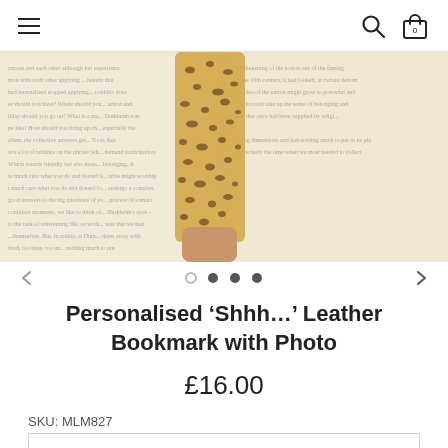Navigation bar with hamburger menu, search icon, and shopping bag icon (0 items)
[Figure (photo): A leather bookmark with leopard print design placed in an open book. The bookmark is being held between fingers against pages of printed text.]
Personalised ‘Shhh…’ Leather Bookmark with Photo
£16.00
SKU: MLM827